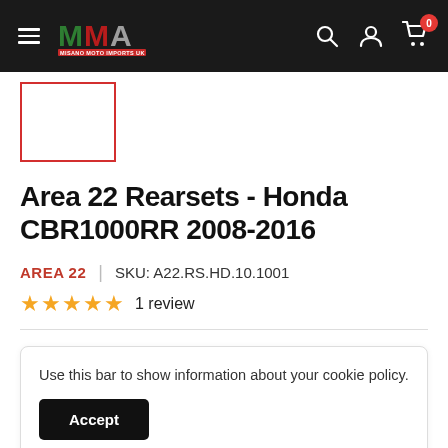Misano Moto Imports UK — navigation header with logo, hamburger menu, search, account, and cart (0 items)
[Figure (photo): Product thumbnail placeholder — white box with red border]
Area 22 Rearsets - Honda CBR1000RR 2008-2016
AREA 22  |  SKU: A22.RS.HD.10.1001
★★★★★  1 review
Use this bar to show information about your cookie policy.
Accept